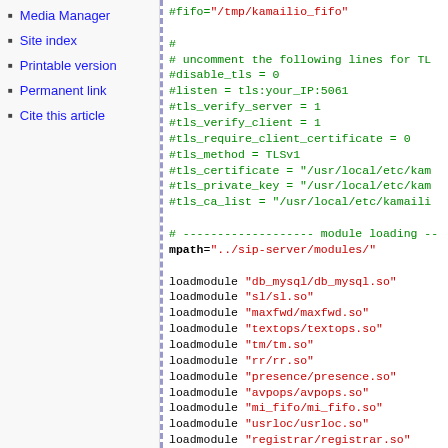Media Manager
Site index
Printable version
Permanent link
Cite this article
#fifo="/tmp/kamailio_fifo"
#
# uncomment the following lines for TL
#disable_tls = 0
#listen = tls:your_IP:5061
#tls_verify_server = 1
#tls_verify_client = 1
#tls_require_client_certificate = 0
#tls_method = TLSv1
#tls_certificate = "/usr/local/etc/kam
#tls_private_key = "/usr/local/etc/kam
#tls_ca_list = "/usr/local/etc/kamaili

# ------------------- module loading --
mpath="../sip-server/modules/"

loadmodule "db_mysql/db_mysql.so"
loadmodule "sl/sl.so"
loadmodule "maxfwd/maxfwd.so"
loadmodule "textops/textops.so"
loadmodule "tm/tm.so"
loadmodule "rr/rr.so"
loadmodule "presence/presence.so"
loadmodule "avpops/avpops.so"
loadmodule "mi_fifo/mi_fifo.so"
loadmodule "usrloc/usrloc.so"
loadmodule "registrar/registrar.so"
loadmodule "pua/pua.so"
loadmodule "xmpp/xmpp.so"
loadmodule "pua_xmpp/pua_xmpp.so"